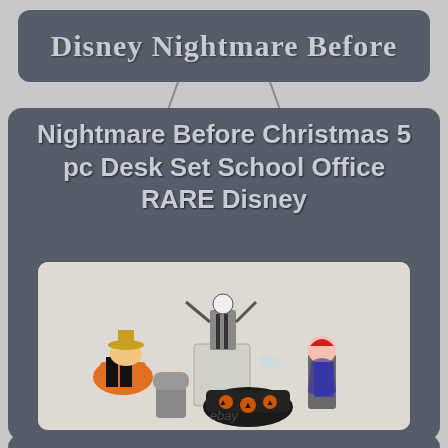Disney Nightmare Before
Nightmare Before Christmas 5 pc Desk Set School Office RARE Disney
[Figure (photo): Photo of a Nightmare Before Christmas 5-piece desk set product, showing multiple character figurines and desk accessories including Jack Skellington and other characters from the movie, displayed on a white surface. The image has an eBay watermark.]